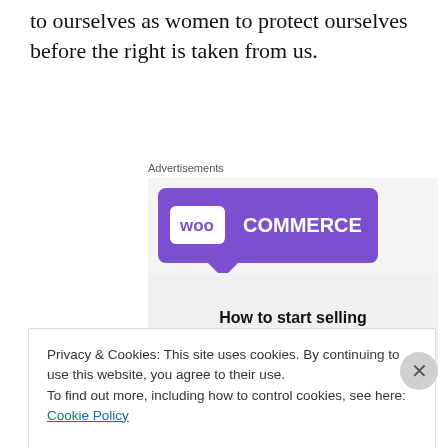to ourselves as women to protect ourselves before the right is taken from us.
Advertisements
[Figure (illustration): WooCommerce advertisement banner with purple header showing WooCommerce logo and text 'How to start selling subscriptions online' with teal and blue decorative shapes on a light gray background.]
Privacy & Cookies: This site uses cookies. By continuing to use this website, you agree to their use.
To find out more, including how to control cookies, see here: Cookie Policy
Close and accept